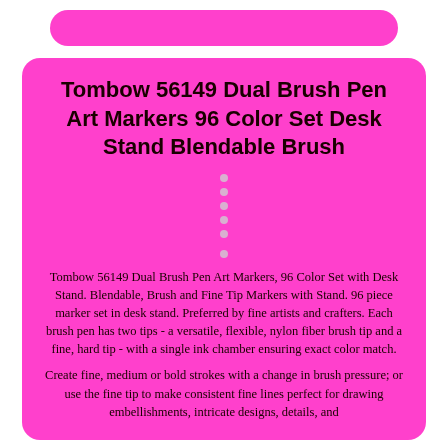[Figure (other): Decorative magenta/pink rounded rectangle banner at top]
Tombow 56149 Dual Brush Pen Art Markers 96 Color Set Desk Stand Blendable Brush
[Figure (other): Six small decorative bullet dots in two groups on pink background]
Tombow 56149 Dual Brush Pen Art Markers, 96 Color Set with Desk Stand. Blendable, Brush and Fine Tip Markers with Stand. 96 piece marker set in desk stand. Preferred by fine artists and crafters. Each brush pen has two tips - a versatile, flexible, nylon fiber brush tip and a fine, hard tip - with a single ink chamber ensuring exact color match.
Create fine, medium or bold strokes with a change in brush pressure; or use the fine tip to make consistent fine lines perfect for drawing embellishments, intricate designs, details, and